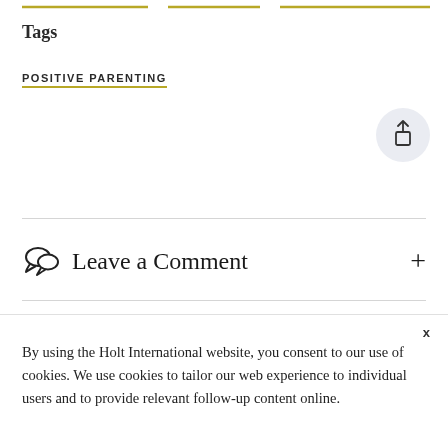[Figure (other): Two horizontal olive/yellow decorative lines at top of page]
Tags
POSITIVE PARENTING
[Figure (other): Share button icon - circular light grey button with share/upload arrow icon]
Leave a Comment
By using the Holt International website, you consent to our use of cookies. We use cookies to tailor our web experience to individual users and to provide relevant follow-up content online.